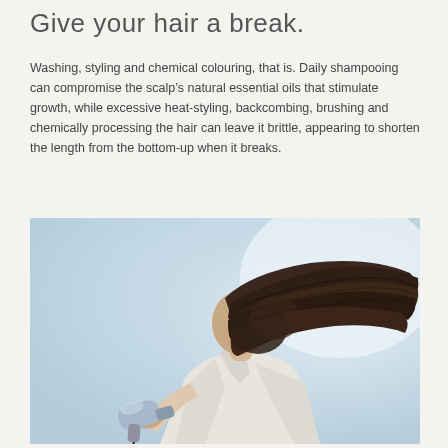Give your hair a break.
Washing, styling and chemical colouring, that is. Daily shampooing can compromise the scalp’s natural essential oils that stimulate growth, while excessive heat-styling, backcombing, brushing and chemically processing the hair can leave it brittle, appearing to shorten the length from the bottom-up when it breaks.
[Figure (photo): A person in a white robe holding a silver hair dryer with their long dark hair blown wildly to the side covering their face, set against a light blue-grey gradient background.]